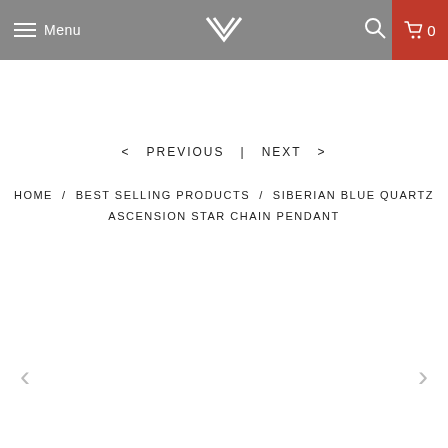Menu | [logo] | [search] | 0
< PREVIOUS  |  NEXT >
HOME  /  BEST SELLING PRODUCTS  /  SIBERIAN BLUE QUARTZ ASCENSION STAR CHAIN PENDANT